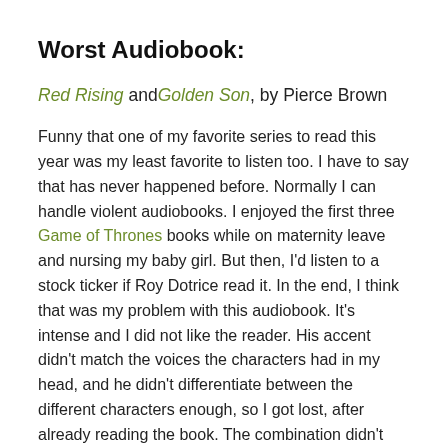Worst Audiobook:
Red Rising and Golden Son, by Pierce Brown
Funny that one of my favorite series to read this year was my least favorite to listen too.  I have to say that has never happened before.  Normally I can handle violent audiobooks.  I enjoyed the first three Game of Thrones books while on maternity leave and nursing my baby girl.  But then, I'd listen to a stock ticker if Roy Dotrice read it.  In the end, I think that was my problem with this audiobook.  It's intense and I did not like the reader.  His accent didn't match the voices the characters had in my head, and he didn't differentiate between the different characters enough, so I got lost, after already reading the book.  The combination didn't work for me at all.